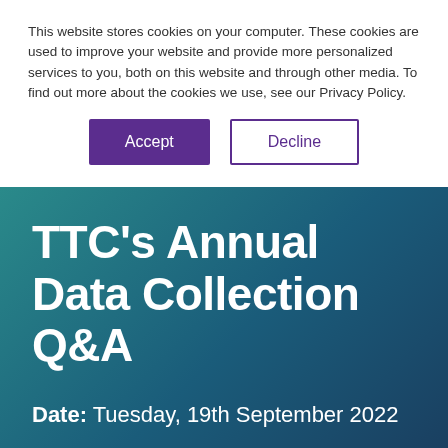This website stores cookies on your computer. These cookies are used to improve your website and provide more personalized services to you, both on this website and through other media. To find out more about the cookies we use, see our Privacy Policy.
Accept | Decline
TTC's Annual Data Collection Q&A
Date: Tuesday, 19th September 2022
Time: 10.00 - 11.00 AM